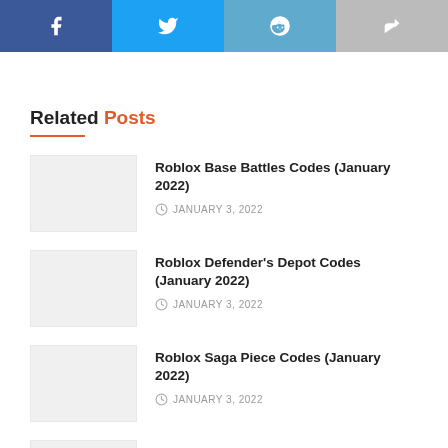[Figure (other): Social share buttons row: Facebook (dark blue), Twitter (light blue), Reddit (medium blue), Share (gray)]
Related Posts
Roblox Base Battles Codes (January 2022) – JANUARY 3, 2022
Roblox Defender's Depot Codes (January 2022) – JANUARY 3, 2022
Roblox Saga Piece Codes (January 2022) – JANUARY 3, 2022
Roblox Murder Madness Codes (January 2022) – JANUARY 3, 2022